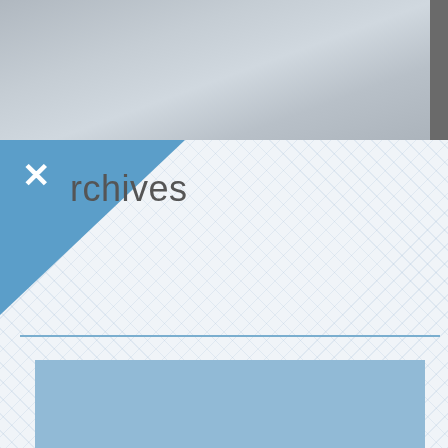[Figure (screenshot): Screenshot of a web interface showing a panel/dialog with an 'Archives' header. The top portion shows a blurred gray background (concrete/wall texture). Below is a white/light panel with a crosshatch diamond pattern overlay. A blue triangular tab appears in the upper-left corner of the panel with a white X close button. The text 'rchives' (Archives with A cut off by the triangle) appears in gray. A thin blue horizontal divider line separates the header from the content area. A large solid light-blue rectangle occupies the lower portion of the panel.]